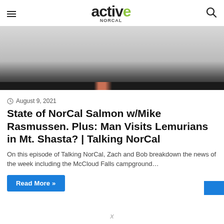active NorCal
[Figure (photo): Hero image area, partially visible, dark bar at bottom suggesting a photo of an outdoor/nature scene]
August 9, 2021
State of NorCal Salmon w/Mike Rasmussen. Plus: Man Visits Lemurians in Mt. Shasta? | Talking NorCal
On this episode of Talking NorCal, Zach and Bob breakdown the news of the week including the McCloud Falls campground…
Read More »